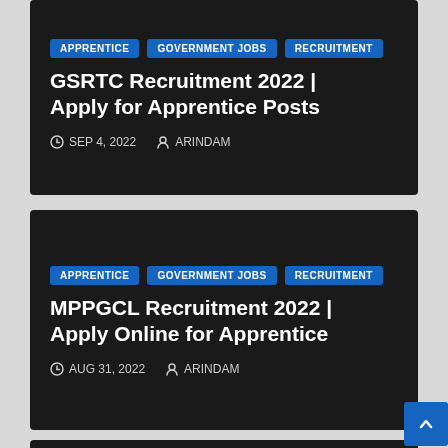APPRENTICE | GOVERNMENT JOBS | RECRUITMENT
GSRTC Recruitment 2022 | Apply for Apprentice Posts
SEP 4, 2022  ARINDAM
APPRENTICE | GOVERNMENT JOBS | RECRUITMENT
MPPGCL Recruitment 2022 | Apply Online for Apprentice
AUG 31, 2022  ARINDAM